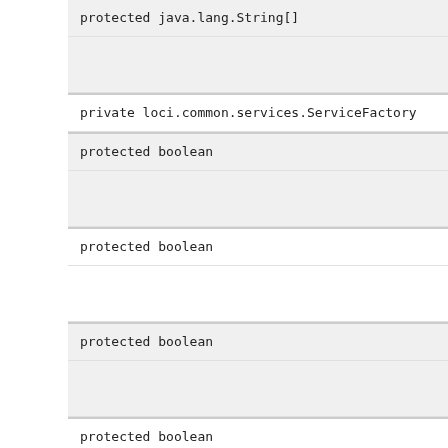protected java.lang.String[]
private loci.common.services.ServiceFactory
protected boolean
protected boolean
protected boolean
protected boolean